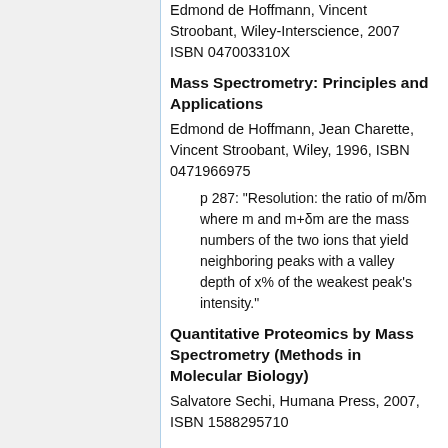Edmond de Hoffmann, Vincent Stroobant, Wiley-Interscience, 2007 ISBN 047003310X
Mass Spectrometry: Principles and Applications
Edmond de Hoffmann, Jean Charette, Vincent Stroobant, Wiley, 1996, ISBN 0471966975
p 287: "Resolution: the ratio of m/δm where m and m+δm are the mass numbers of the two ions that yield neighboring peaks with a valley depth of x% of the weakest peak's intensity."
Quantitative Proteomics by Mass Spectrometry (Methods in Molecular Biology)
Salvatore Sechi, Humana Press, 2007, ISBN 1588295710